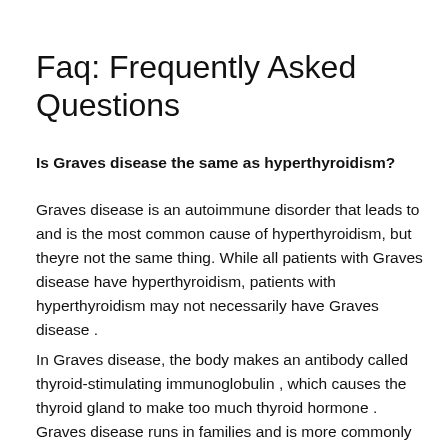Faq: Frequently Asked Questions
Is Graves disease the same as hyperthyroidism?
Graves disease is an autoimmune disorder that leads to and is the most common cause of hyperthyroidism, but theyre not the same thing. While all patients with Graves disease have hyperthyroidism, patients with hyperthyroidism may not necessarily have Graves disease .
In Graves disease, the body makes an antibody called thyroid-stimulating immunoglobulin , which causes the thyroid gland to make too much thyroid hormone . Graves disease runs in families and is more commonly found in women